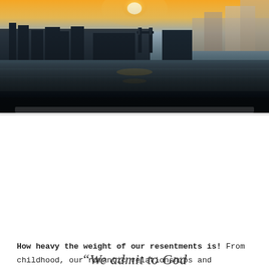[Figure (photo): Panoramic cityscape photo showing a river (Thames) with a city skyline at sunset/dusk. The upper portion shows warm orange and yellow sky with the sun, and silhouettes of buildings including what appears to be Tower Bridge in the distance. The lower portion is dark showing the river with reflections.]
How heavy the weight of our resentments is! From childhood, our romantic relationships and friendships: we all carry them with us. The 12-step program needs us to write all of these down and to look at our part in all of these. Why did we sit with our negative emotions for so long, and why was it so much easier to blame others?
“We admit to God